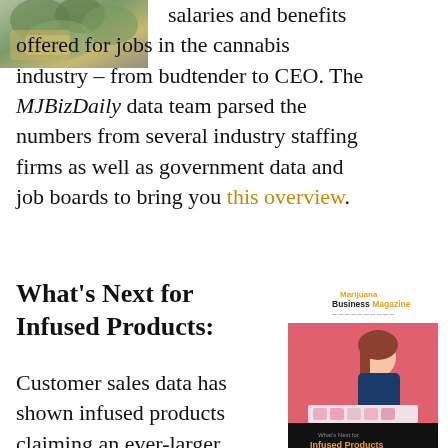[Figure (photo): Photo of money/cannabis plant at top left corner]
salaries and benefits offered for jobs in the cannabis industry – from budtender to CEO. The MJBizDaily data team parsed the numbers from several industry staffing firms as well as government data and job boards to bring you this overview.
What's Next for Infused Products:
[Figure (photo): Cover of Marijuana Business Magazine featuring a woman and text 'What's Next for Infused Products']
Customer sales data has shown infused products claiming an ever-larger piece of the market share pie in recent years, with celebrity chefs and